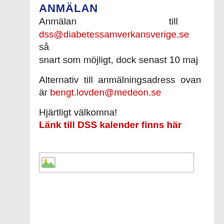ANMÄLAN
Anmälan till dss@diabetessamverkansverige.se så snart som möjligt, dock senast 10 maj
Alternativ till anmälningsadress ovan är bengt.lovden@medeon.se
Hjärtligt välkomna!
Länk till DSS kalender finns här
[Figure (other): Broken/missing image placeholder — a small image icon with a border]